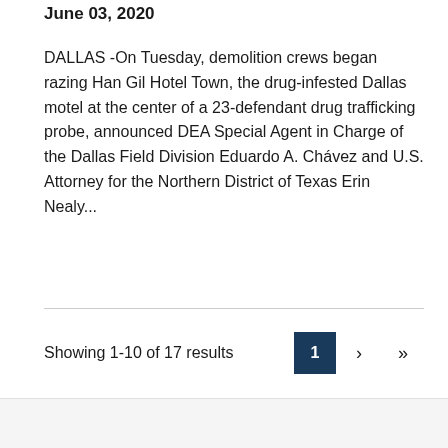June 03, 2020
DALLAS -On Tuesday, demolition crews began razing Han Gil Hotel Town, the drug-infested Dallas motel at the center of a 23-defendant drug trafficking probe, announced DEA Special Agent in Charge of the Dallas Field Division Eduardo A. Chávez and U.S. Attorney for the Northern District of Texas Erin Nealy...
Showing 1-10 of 17 results
SAMHSA Behavioral Health Treatment Locator
Address, city, state or zip code